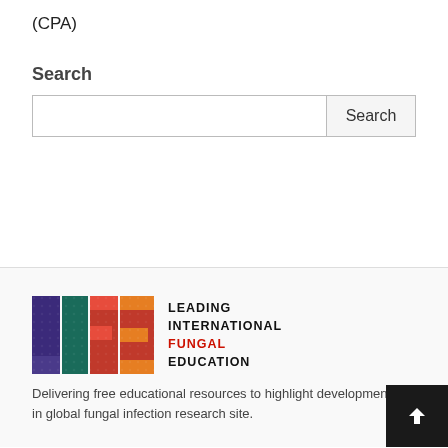(CPA)
Search
Search input field with Search button
[Figure (logo): LIFE - Leading International Fungal Education logo with colorful letters and text]
Delivering free educational resources to highlight developments in global fungal infection research site.